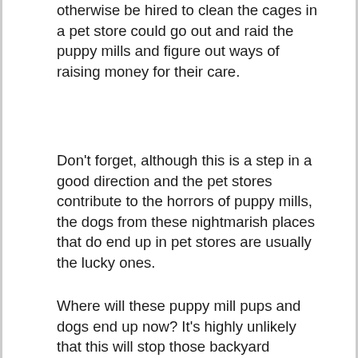otherwise be hired to clean the cages in a pet store could go out and raid the puppy mills and figure out ways of raising money for their care.
Don't forget, although this is a step in a good direction and the pet stores contribute to the horrors of puppy mills, the dogs from these nightmarish places that do end up in pet stores are usually the lucky ones.
Where will these puppy mill pups and dogs end up now? It's highly unlikely that this will stop those backyard killers...er breeders.